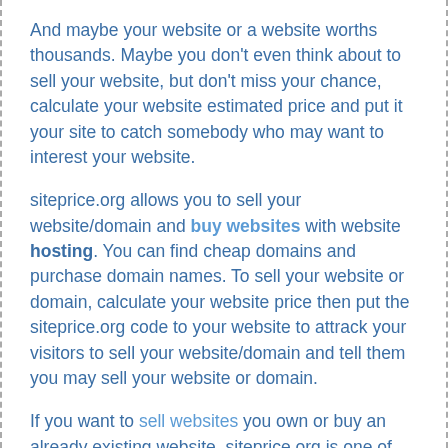And maybe your website or a website worths thousands. Maybe you don't even think about to sell your website, but don't miss your chance, calculate your website estimated price and put it your site to catch somebody who may want to interest your website.
siteprice.org allows you to sell your website/domain and buy websites with website hosting. You can find cheap domains and purchase domain names. To sell your website or domain, calculate your website price then put the siteprice.org code to your website to attrack your visitors to sell your website/domain and tell them you may sell your website or domain.
If you want to sell websites you own or buy an already existing website, siteprice.org is one of the easiest place that you can find. We want to bring sellers and buyers together and contact with them easily and